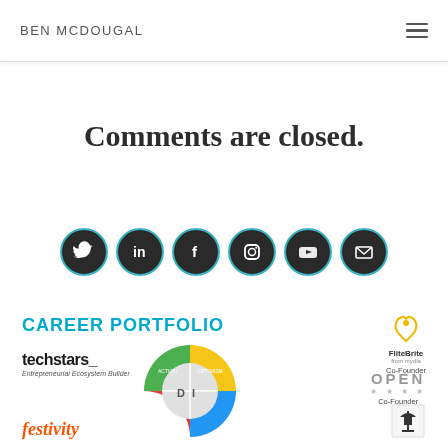BEN MCDOUGAL
Comments are closed.
[Figure (infographic): Row of 6 social media icon buttons (Twitter, LinkedIn, Facebook, Instagram, YouTube, Email) as dark circular icons with teal borders]
[Figure (infographic): Career portfolio section showing CAREER PORTFOLIO heading, Techstars Entrepreneurial Ecosystem Builder logo, FliteBrite Co-Founder logo with lightbulb icon, OPEN Co-Founder logo, a colorful circular segmented diagram (DISC-style), a festive-looking logo, and a small lamp/light logo]